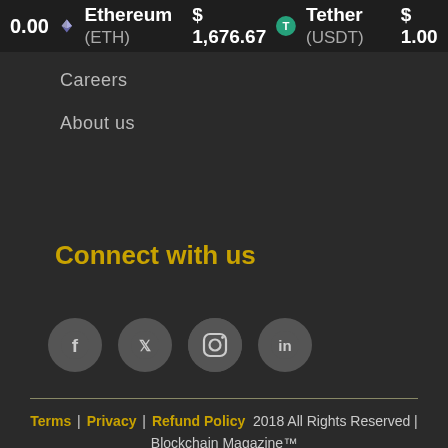0.00  Ethereum (ETH) $1,676.67  Tether (USDT) $1.00
Careers
About us
Connect with us
[Figure (infographic): Social media icons: Facebook, Twitter, Instagram, LinkedIn — each in a grey circle]
Terms | Privacy | Refund Policy 2018 All Rights Reserved | Blockchain Magazine™